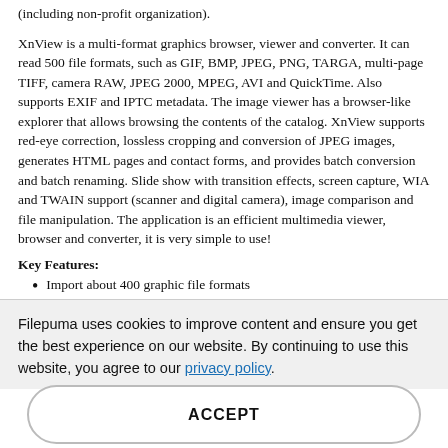(including non-profit organization).
XnView is a multi-format graphics browser, viewer and converter. It can read 500 file formats, such as GIF, BMP, JPEG, PNG, TARGA, multi-page TIFF, camera RAW, JPEG 2000, MPEG, AVI and QuickTime. Also supports EXIF and IPTC metadata. The image viewer has a browser-like explorer that allows browsing the contents of the catalog. XnView supports red-eye correction, lossless cropping and conversion of JPEG images, generates HTML pages and contact forms, and provides batch conversion and batch renaming. Slide show with transition effects, screen capture, WIA and TWAIN support (scanner and digital camera), image comparison and file manipulation. The application is an efficient multimedia viewer, browser and converter, it is very simple to use!
Key Features:
Import about 400 graphic file formats
Export about 50 graphic file formats
Multipage TIFF, Animated GIF, Animated ICO support
Image IPTC, EXIF metadata support
EXIF auto rotation support
IPTC editing
Filepuma uses cookies to improve content and ensure you get the best experience on our website. By continuing to use this website, you agree to our privacy policy.
ACCEPT